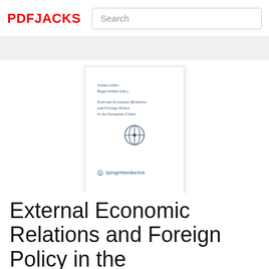PDFJACKS
[Figure (illustration): Book cover thumbnail for 'External Economic Relations and Foreign Policy in the European Union' edited by Stefan Griller and Birgit Weidel, published by SpringerWienNewYork]
External Economic Relations and Foreign Policy in the